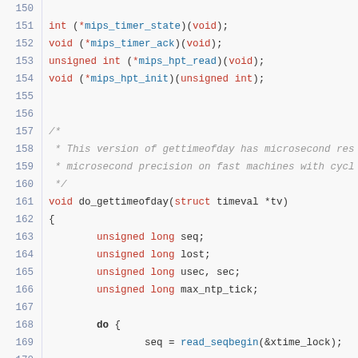[Figure (screenshot): Source code listing in C showing lines 150-172 of a MIPS timer and gettimeofday implementation. Syntax highlighting: keywords in red, identifiers/functions in blue, comments in gray italic, plain code in dark.]